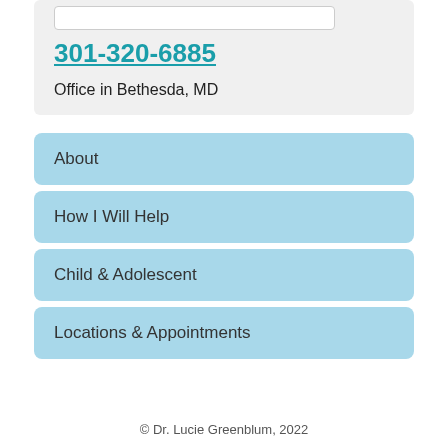301-320-6885
Office in Bethesda, MD
About
How I Will Help
Child & Adolescent
Locations & Appointments
© Dr. Lucie Greenblum, 2022